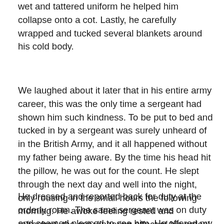wet and tattered uniform he helped him collapse onto a cot. Lastly, he carefully wrapped and tucked several blankets around his cold body.
We laughed about it later that in his entire army career, this was the only time a sergeant had shown him such kindness. To be put to bed and tucked in by a sergeant was surely unheard of in the British Army, and it all happened without my father being aware. By the time his head hit the pillow, he was out for the count. He slept through the next day and well into the night, only rousing in the small hours the following morning. He awoke feeling rested and refreshed, the only lingering effect of his ordeal being a nasty headache.
He dressed and reported back for duty at the orderly room. The same sergeant was on duty and seemed pleased to see him. He offered my father a cup of tea, and